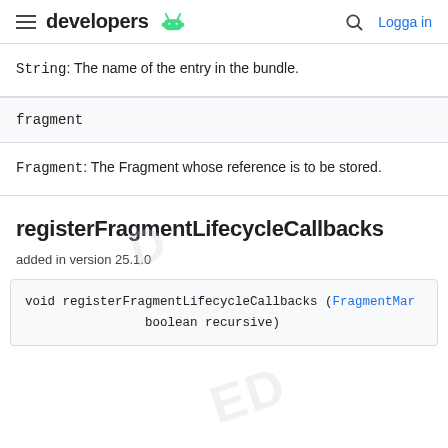developers (android logo) | Logga in
String: The name of the entry in the bundle.
fragment
Fragment: The Fragment whose reference is to be stored.
registerFragmentLifecycleCallbacks
added in version 25.1.0
void registerFragmentLifecycleCallbacks (FragmentManager.FragmentLifecycleCallbacks callback,
        boolean recursive)